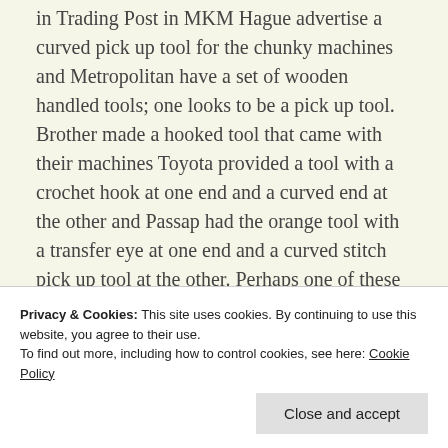in Trading Post in MKM Hague advertise a curved pick up tool for the chunky machines and Metropolitan have a set of wooden handled tools; one looks to be a pick up tool. Brother made a hooked tool that came with their machines Toyota provided a tool with a crochet hook at one end and a curved end at the other and Passap had the orange tool with a transfer eye at one end and a curved stitch pick up tool at the other. Perhaps one of these would replace yours? Have you looked on ebay? There are always lots of machine knitting related items advertised.
Privacy & Cookies: This site uses cookies. By continuing to use this website, you agree to their use. To find out more, including how to control cookies, see here: Cookie Policy
Close and accept